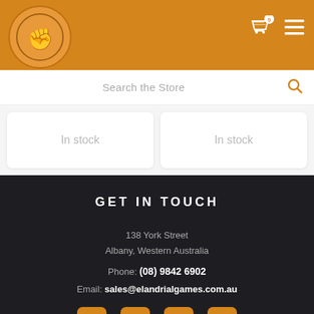[Figure (logo): Elandrial Games logo: hand/fist sketch inside a circle on orange header bar]
[Figure (illustration): Shopping cart icon with 0 badge and hamburger menu icon in white on orange header]
Search the Store
In stock
In stock
GET IN TOUCH
138 York Street
Albany, Western Australia
Phone: (08) 9842 6902
Email: sales@elandrialgames.com.au
[Figure (illustration): Social media icons row: Facebook, Twitter, Instagram, Discord — all in orange on dark background]